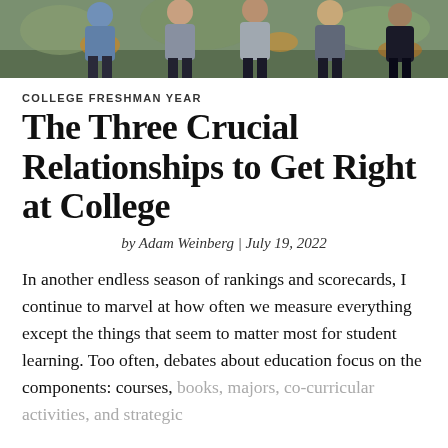[Figure (photo): Photograph of a group of college students standing outdoors among autumn leaves]
COLLEGE FRESHMAN YEAR
The Three Crucial Relationships to Get Right at College
by Adam Weinberg | July 19, 2022
In another endless season of rankings and scorecards, I continue to marvel at how often we measure everything except the things that seem to matter most for student learning. Too often, debates about education focus on the components: courses, books, majors, co-curricular activities, and strategic